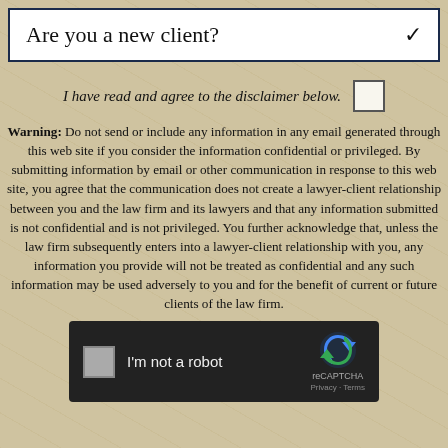Are you a new client?
I have read and agree to the disclaimer below.
Warning: Do not send or include any information in any email generated through this web site if you consider the information confidential or privileged. By submitting information by email or other communication in response to this web site, you agree that the communication does not create a lawyer-client relationship between you and the law firm and its lawyers and that any information submitted is not confidential and is not privileged. You further acknowledge that, unless the law firm subsequently enters into a lawyer-client relationship with you, any information you provide will not be treated as confidential and any such information may be used adversely to you and for the benefit of current or future clients of the law firm.
[Figure (screenshot): reCAPTCHA widget with checkbox and 'I'm not a robot' label, reCAPTCHA logo, Privacy and Terms links]